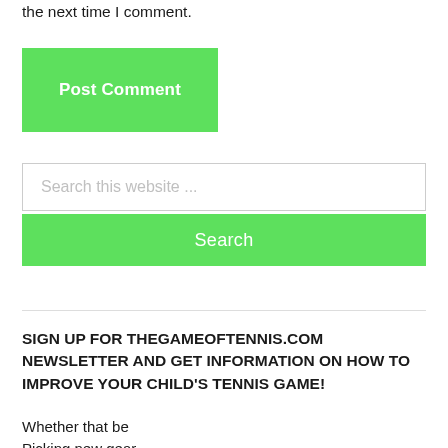the next time I comment.
Post Comment
Search this website ...
Search
SIGN UP FOR THEGAMEOFTENNIS.COM NEWSLETTER AND GET INFORMATION ON HOW TO IMPROVE YOUR CHILD'S TENNIS GAME!
Whether that be
Picking new gear